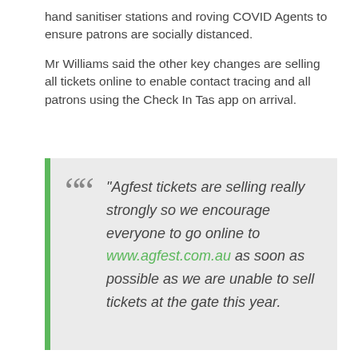hand sanitiser stations and roving COVID Agents to ensure patrons are socially distanced.
Mr Williams said the other key changes are selling all tickets online to enable contact tracing and all patrons using the Check In Tas app on arrival.
"Agfest tickets are selling really strongly so we encourage everyone to go online to www.agfest.com.au as soon as possible as we are unable to sell tickets at the gate this year.